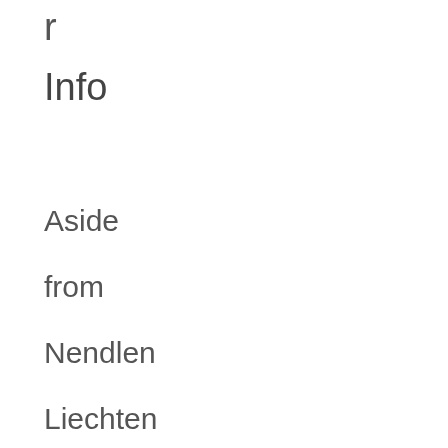r
Info
Aside from Nendlen Liechtenstein, tourists can also go snowboarding and skiing in Malbun. The